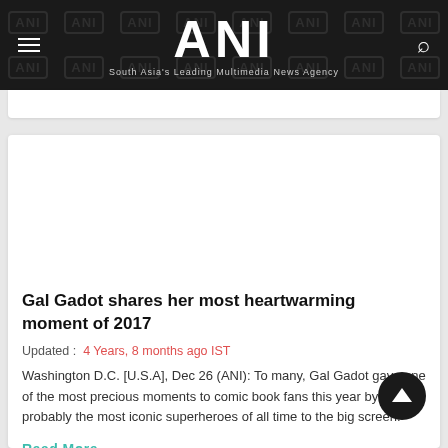ANI — South Asia's Leading Multimedia News Agency
Gal Gadot shares her most heartwarming moment of 2017
Updated : 4 Years, 8 months ago IST
Washington D.C. [U.S.A], Dec 26 (ANI): To many, Gal Gadot gave one of the most precious moments to comic book fans this year by taking probably the most iconic superheroes of all time to the big screen.
Read More